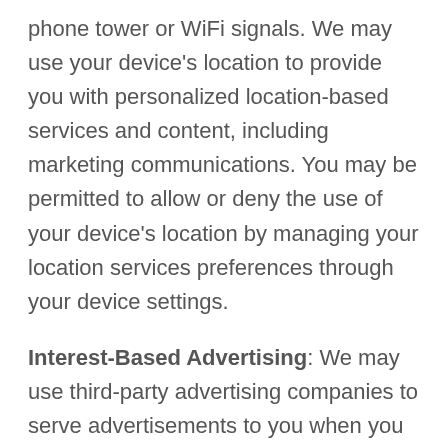phone tower or WiFi signals. We may use your device's location to provide you with personalized location-based services and content, including marketing communications. You may be permitted to allow or deny the use of your device's location by managing your location services preferences through your device settings.
Interest-Based Advertising: We may use third-party advertising companies to serve advertisements to you when you access our websites, applications or online services, based on information relating to your access to and use of other websites, applications or online services on any of your devices. To do so, these companies may use various technologies, including the placement or recognition of a unique cookie on your browser (including